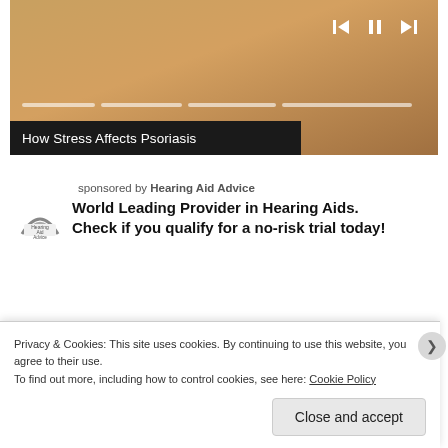[Figure (screenshot): Video player thumbnail showing a person in a yellow top on a couch, with playback controls (skip-back, pause, skip-forward) and a progress bar. Title bar reads 'How Stress Affects Psoriasis'.]
How Stress Affects Psoriasis
sponsored by Hearing Aid Advice
World Leading Provider in Hearing Aids. Check if you qualify for a no-risk trial today!
[Figure (photo): Two partial photos side by side at the bottom: left shows a blurred skin close-up (pinkish-tan), right shows grey/blonde hair.]
Privacy & Cookies: This site uses cookies. By continuing to use this website, you agree to their use.
To find out more, including how to control cookies, see here: Cookie Policy